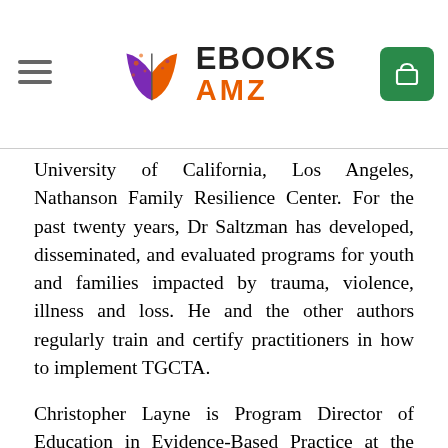EBOOKS AMZ
University of California, Los Angeles, Nathanson Family Resilience Center. For the past twenty years, Dr Saltzman has developed, disseminated, and evaluated programs for youth and families impacted by trauma, violence, illness and loss. He and the other authors regularly train and certify practitioners in how to implement TGCTA.
Christopher Layne is Program Director of Education in Evidence-Based Practice at the UCLA/Duke University National Center for Child Traumatic Stress, and a research psychologist at the University of California, Los Angeles. His professional interests include adolescent traumatic stress and bereavement, developmental psychopathology, evidence-based assessment and practice, test construction, community violence, and political violence. Dr Layne is the lead developer of multidimensional grief